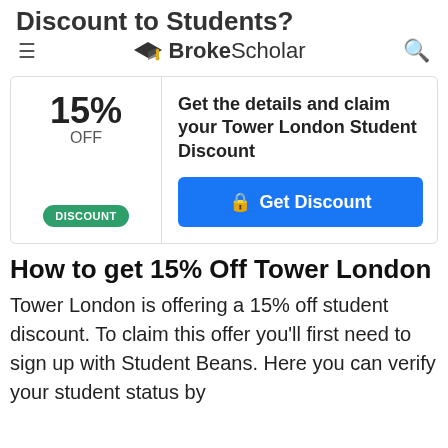Discount to Students?
BrokeScholar
15% OFF DISCOUNT
Get the details and claim your Tower London Student Discount
Get Discount
How to get 15% Off Tower London
Tower London is offering a 15% off student discount. To claim this offer you'll first need to sign up with Student Beans. Here you can verify your student status by